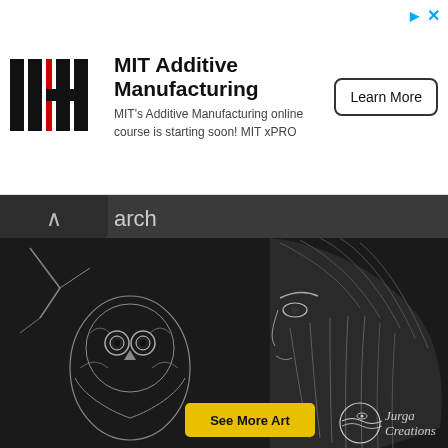[Figure (logo): MIT Additive Manufacturing advertisement banner with MIT logo, headline, description text, and Learn More button]
arch
Jobs By Industries
Jobs By States
Find Companies
Subscribe To Jobs Daily
Employers
Post A Job
[Figure (illustration): Artistic pencil drawing showing an owl next to a bearded face profile with 'See More Art' yellow button and 'Jurga Creations' logo/text]